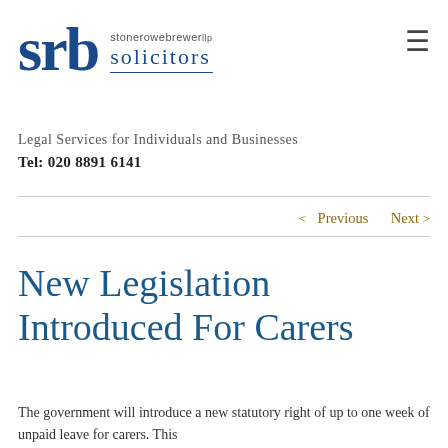[Figure (logo): Stone Rowe Brewer LLP Solicitors logo with 'srb' letters in blue and firm name]
Legal Services for Individuals and Businesses
Tel: 020 8891 6141
< Previous   Next >
New Legislation Introduced For Carers
The government will introduce a new statutory right of up to one week of unpaid leave for carers. This